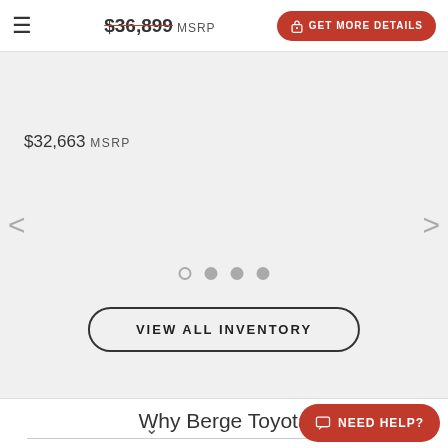☰  $36,899 MSRP  GET MORE DETAILS
$32,663 MSRP
[Figure (screenshot): Carousel image placeholder area with left/right navigation arrows and four pagination dots (first dot is open circle, others filled)]
VIEW ALL INVENTORY
Why Berge Toyota
Our focus is 100% on the satisfaction of our customers in